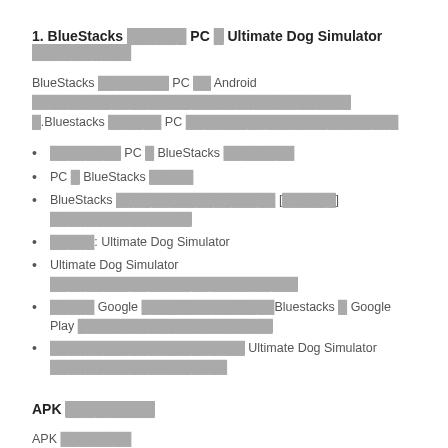1. BlueStacks ██████ PC █ Ultimate Dog Simulator ██████████
BlueStacks ████████ PC ██ Android ████████████████████████████████████.Bluestacks ██████ PC ████████████████████████████
████████ PC █ BlueStacks ████████
PC █ BlueStacks █████
BlueStacks ██████████████████ [██████] ████████████████
█████: Ultimate Dog Simulator
Ultimate Dog Simulator ████████████████████████████
█████ Google █████████████████Bluestacks █ Google Play ██████████████████████
██████████████████████ Ultimate Dog Simulator ████████████████████
APK █████████
APK ████████
█████ PlayStore ████████
ApkPure █████